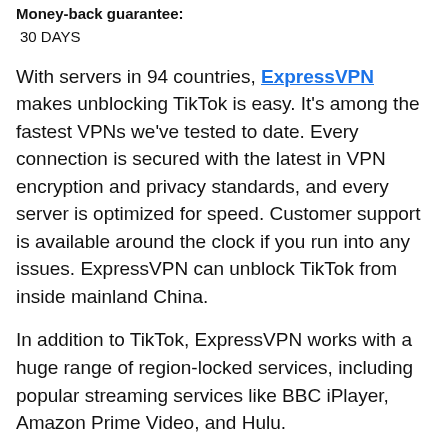Money-back guarantee:
30 DAYS
With servers in 94 countries, ExpressVPN makes unblocking TikTok is easy. It's among the fastest VPNs we've tested to date. Every connection is secured with the latest in VPN encryption and privacy standards, and every server is optimized for speed. Customer support is available around the clock if you run into any issues. ExpressVPN can unblock TikTok from inside mainland China.
In addition to TikTok, ExpressVPN works with a huge range of region-locked services, including popular streaming services like BBC iPlayer, Amazon Prime Video, and Hulu.